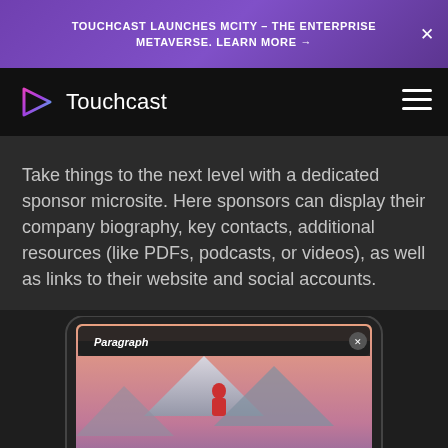TOUCHCAST LAUNCHES MCITY - THE ENTERPRISE METAVERSE. LEARN MORE →
[Figure (logo): Touchcast logo with triangular play-button icon and wordmark 'Touchcast' in white on black nav bar]
Take things to the next level with a dedicated sponsor microsite. Here sponsors can display their company biography, key contacts, additional resources (like PDFs, podcasts, or videos), as well as links to their website and social accounts.
[Figure (screenshot): Tablet/iPad device screenshot showing a 'Paragraph' modal overlay with a person in red jacket on a mountain background, with 'Paragraph' label and 'Visit Website' button at bottom]